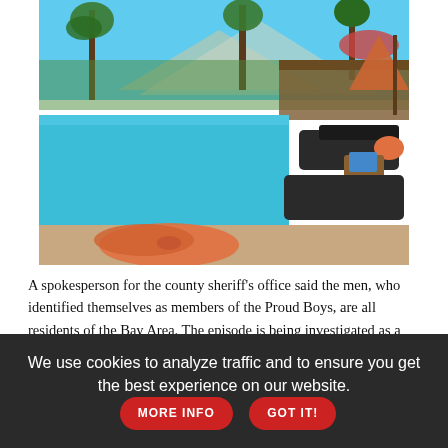[Figure (photo): Outdoor pool area at a resort with lounge chairs, orange towels, palm trees, mountains in background, and patio umbrellas.]
A spokesperson for the county sheriff's office said the men, who identified themselves as members of the Proud Boys, are all residents of the Bay Area. The episode is being investigated as a hate crime.
The Alameda County Library, which continues to receive threats...
We use cookies to analyze traffic and to ensure you get the best experience on our website.